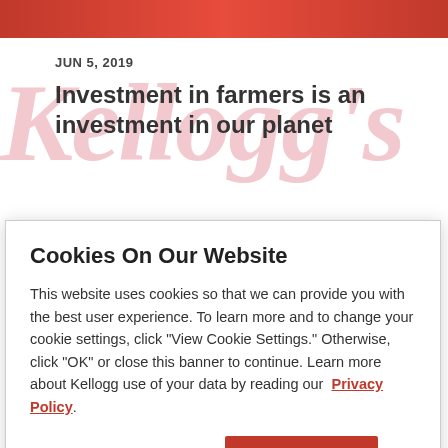[Figure (screenshot): Top red banner image strip from Kellogg's website]
JUN 5, 2019
Investment in farmers is an investment in our planet
JUN 6, 2019
Cookies On Our Website
This website uses cookies so that we can provide you with the best user experience. To learn more and to change your cookie settings, click "View Cookie Settings." Otherwise, click "OK" or close this banner to continue. Learn more about Kellogg use of your data by reading our  Privacy Policy.
Cookie Preferences
OK